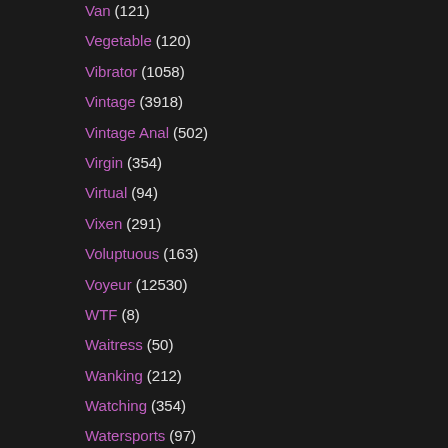Van (121)
Vegetable (120)
Vibrator (1058)
Vintage (3918)
Vintage Anal (502)
Virgin (354)
Virtual (94)
Vixen (291)
Voluptuous (163)
Voyeur (12530)
WTF (8)
Waitress (50)
Wanking (212)
Watching (354)
Watersports (97)
Wax (98)